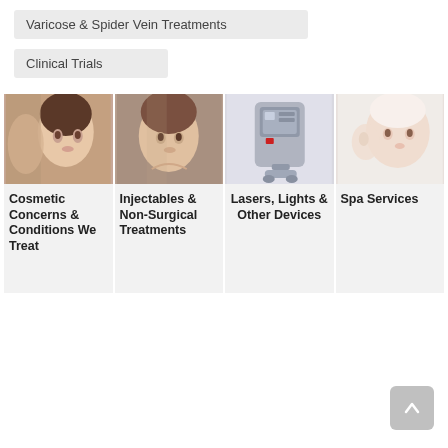Varicose & Spider Vein Treatments
Clinical Trials
[Figure (screenshot): Four category tiles with photos and labels: Cosmetic Concerns & Conditions We Treat, Injectables & Non-Surgical Treatments, Lasers, Lights & Other Devices, Spa Services]